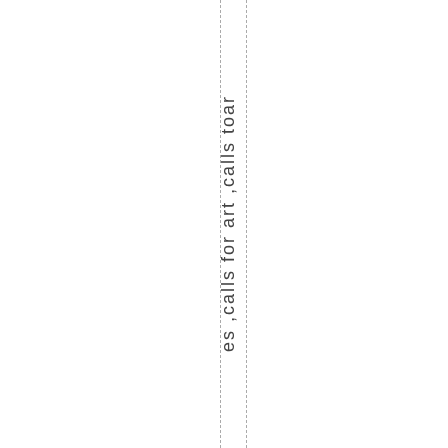es ,calls for art ,calls toa r